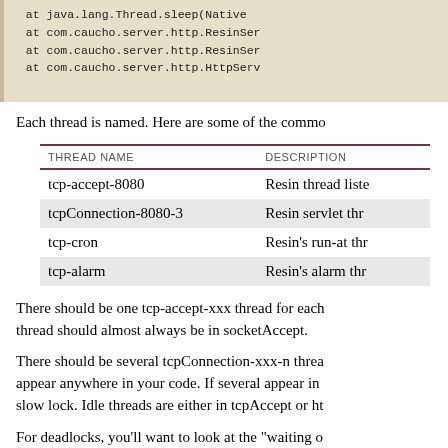[Figure (screenshot): Code block showing Java stack trace lines: at java.lang.Thread.sleep(Native...), at com.caucho.server.http.ResinSer..., at com.caucho.server.http.ResinSer..., at com.caucho.server.http.HttpServ...]
Each thread is named. Here are some of the common thread names:
| THREAD NAME | DESCRIPTION |
| --- | --- |
| tcp-accept-8080 | Resin thread liste... |
| tcpConnection-8080-3 | Resin servlet thr... |
| tcp-cron | Resin's run-at thr... |
| tcp-alarm | Resin's alarm thr... |
There should be one tcp-accept-xxx thread for each port. The thread should almost always be in socketAccept.
There should be several tcpConnection-xxx-n threads. They can appear anywhere in your code. If several appear in the same location, it indicates a slow lock. Idle threads are either in tcpAccept or ht...
For deadlocks, you'll want to look at the "waiting o... the same location.
Out of Memory and Garbage Co...